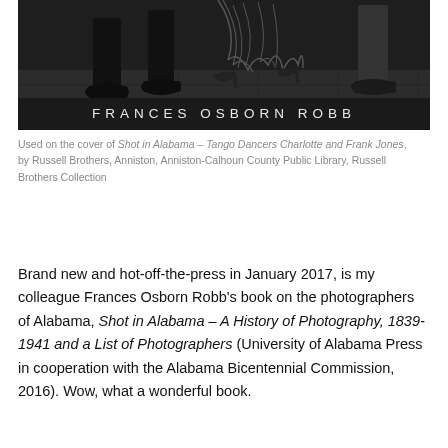[Figure (photo): Black and white photograph of tango dancers' feet and lower legs, with a dark banner at the bottom reading 'FRANCES OSBORN ROBB' in spaced capital letters.]
Used on the cover of Shot in Alabama – Tango Dancers Charlotte and Frank Jones, by Russell Brothers, Anniston, Anniston-Calhoun County Public Library, Russell Brothers Collection
Brand new and hot-off-the-press in January 2017, is my colleague Frances Osborn Robb's book on the photographers of Alabama, Shot in Alabama – A History of Photography, 1839-1941 and a List of Photographers (University of Alabama Press in cooperation with the Alabama Bicentennial Commission, 2016). Wow, what a wonderful book.